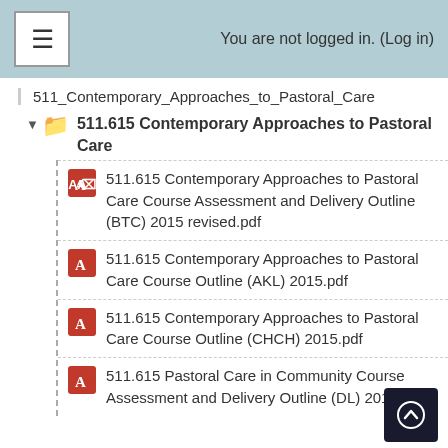≡   You are not logged in. (Log in)
511_Contemporary_Approaches_to_Pastoral_Care
511.615 Contemporary Approaches to Pastoral Care
511.615 Contemporary Approaches to Pastoral Care Course Assessment and Delivery Outline (BTC) 2015 revised.pdf
511.615 Contemporary Approaches to Pastoral Care Course Outline (AKL) 2015.pdf
511.615 Contemporary Approaches to Pastoral Care Course Outline (CHCH) 2015.pdf
511.615 Pastoral Care in Community Course Assessment and Delivery Outline (DL) 2015.pdf